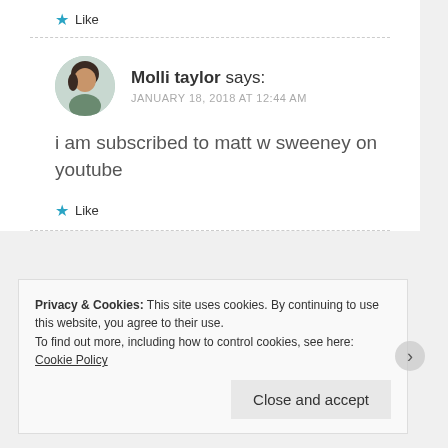★ Like
Molli taylor says: JANUARY 18, 2018 AT 12:44 AM
i am subscribed to matt w sweeney on youtube
★ Like
Privacy & Cookies: This site uses cookies. By continuing to use this website, you agree to their use.
To find out more, including how to control cookies, see here: Cookie Policy
Close and accept